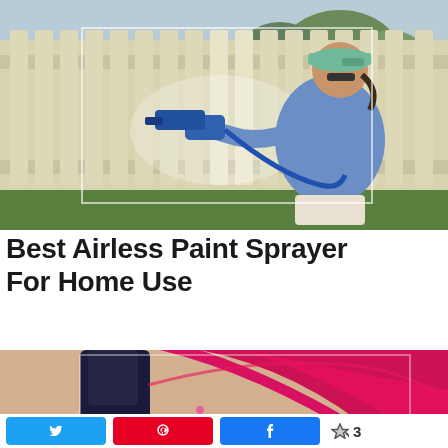[Figure (photo): Woman in blue shirt and green cap using a blue airless paint sprayer on a white wooden fence outdoors]
Best Airless Paint Sprayer For Home Use
[Figure (photo): Close-up of a paint sprayer nozzle spraying magenta/pink paint on a surface, with dark blue nozzle tip visible]
3